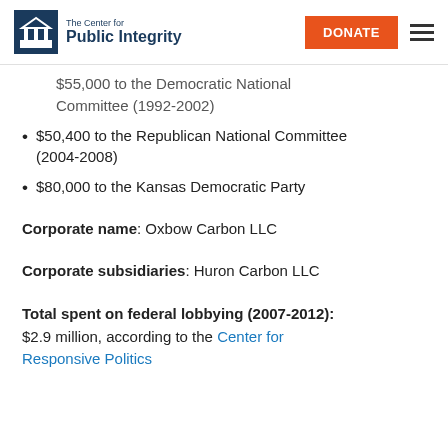The Center for Public Integrity | DONATE
$55,000 to the Democratic National Committee (1992-2002)
$50,400 to the Republican National Committee (2004-2008)
$80,000 to the Kansas Democratic Party
Corporate name: Oxbow Carbon LLC
Corporate subsidiaries: Huron Carbon LLC
Total spent on federal lobbying (2007-2012): $2.9 million, according to the Center for Responsive Politics